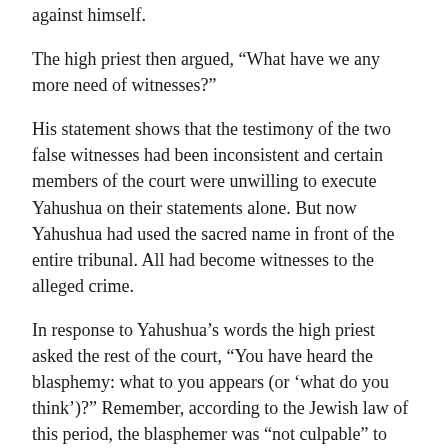against himself.
The high priest then argued, “What have we any more need of witnesses?”
His statement shows that the testimony of the two false witnesses had been inconsistent and certain members of the court were unwilling to execute Yahushua on their statements alone. But now Yahushua had used the sacred name in front of the entire tribunal. All had become witnesses to the alleged crime.
In response to Yahushua’s words the high priest asked the rest of the court, “You have heard the blasphemy: what to you appears (or ‘what do you think’)?” Remember, according to the Jewish law of this period, the blasphemer was “not culpable” to receive the death sentence “unless he exactly pronounces the name.”